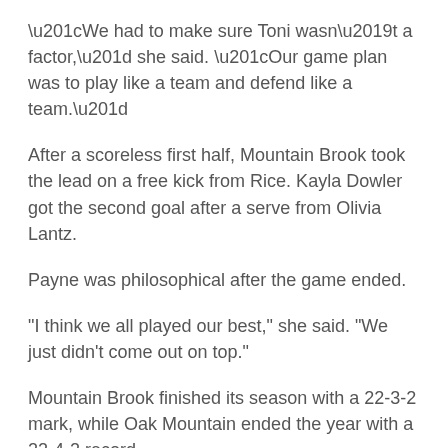“We had to make sure Toni wasn’t a factor,” she said. “Our game plan was to play like a team and defend like a team.”
After a scoreless first half, Mountain Brook took the lead on a free kick from Rice. Kayla Dowler got the second goal after a serve from Olivia Lantz.
Payne was philosophical after the game ended.
"I think we all played our best," she said. "We just didn’t come out on top."
Mountain Brook finished its season with a 22-3-2 mark, while Oak Mountain ended the year with a 22-4-2 record.
The Lady Spartans’ championship was Mountain Brook’s